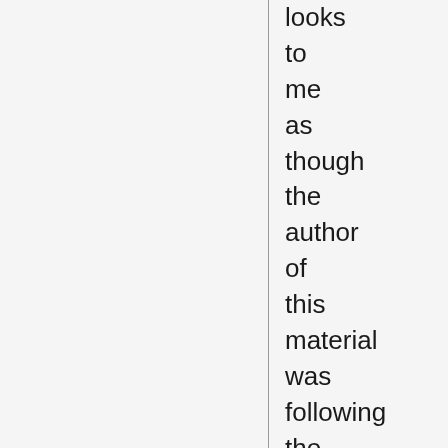looks to me as though the author of this material was following the presentation in Christos